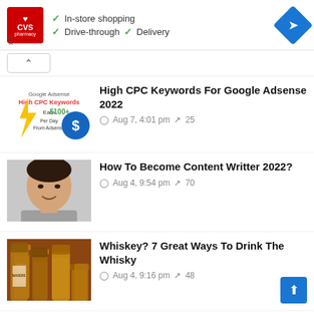[Figure (infographic): CVS Pharmacy advertisement banner showing logo, checkmarks for In-store shopping, Drive-through, Delivery, and a blue navigation diamond icon]
[Figure (infographic): Collapse button (chevron up) and search bar area]
[Figure (photo): Thumbnail for article about High CPC Keywords - shows Google Adsense ad graphic with yellow lightning bolt and dollar sign]
High CPC Keywords For Google Adsense 2022
Aug 7, 4:01 pm  ~ 25
[Figure (photo): Thumbnail showing portrait of an Asian man smiling, wearing a grey sweater]
How To Become Content Writter 2022?
Aug 4, 9:54 pm  ~ 70
[Figure (photo): Thumbnail showing whiskey bottles on a bar]
Whiskey? 7 Great Ways To Drink The Whisky
Aug 4, 9:16 pm  ~ 48